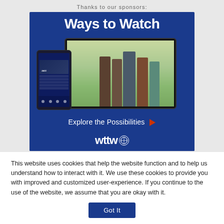Thanks to our sponsors:
[Figure (illustration): WTTW 'Ways to Watch' promotional banner ad with blue background, showing a tablet and phone displaying the PBS app with people in period clothing, text 'Explore the Possibilities' with a red play arrow, and the WTTW PBS logo at the bottom]
This website uses cookies that help the website function and to help us understand how to interact with it. We use these cookies to provide you with improved and customized user-experience. If you continue to the use of the website, we assume that you are okay with it.
Got It